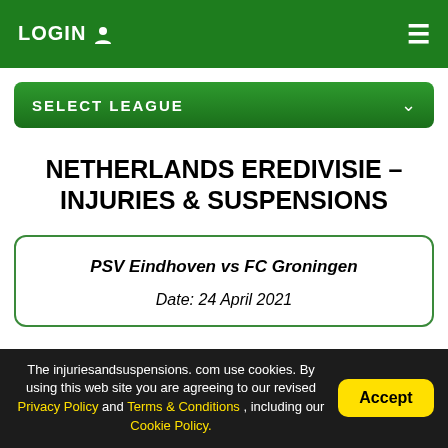LOGIN  ☰
SELECT LEAGUE
NETHERLANDS EREDIVISIE – INJURIES & SUSPENSIONS
PSV Eindhoven vs FC Groningen
Date: 24 April 2021
The injuriesandsuspensions.com use cookies. By using this web site you are agreeing to our revised Privacy Policy and Terms & Conditions , including our Cookie Policy.